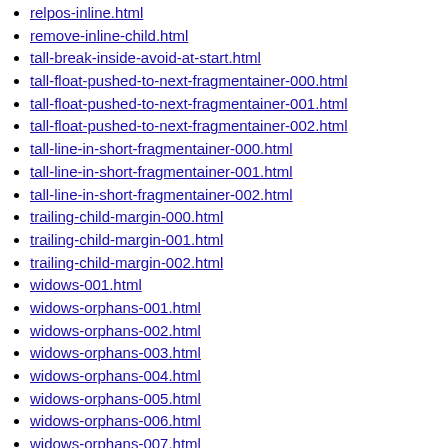relpos-inline.html
remove-inline-child.html
tall-break-inside-avoid-at-start.html
tall-float-pushed-to-next-fragmentainer-000.html
tall-float-pushed-to-next-fragmentainer-001.html
tall-float-pushed-to-next-fragmentainer-002.html
tall-line-in-short-fragmentainer-000.html
tall-line-in-short-fragmentainer-001.html
tall-line-in-short-fragmentainer-002.html
trailing-child-margin-000.html
trailing-child-margin-001.html
trailing-child-margin-002.html
widows-001.html
widows-orphans-001.html
widows-orphans-002.html
widows-orphans-003.html
widows-orphans-004.html
widows-orphans-005.html
widows-orphans-006.html
widows-orphans-007.html
widows-orphans-008.html
widows-orphans-009.html
widows-orphans-010.html
widows-orphans-011.html
widows-orphans-012.html